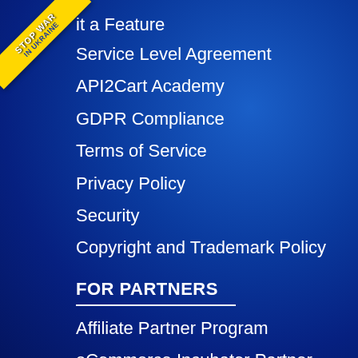[Figure (illustration): Stop War in Ukraine badge/ribbon in upper left corner, yellow ribbon with white and blue text rotated 45 degrees]
it a Feature
Service Level Agreement
API2Cart Academy
GDPR Compliance
Terms of Service
Privacy Policy
Security
Copyright and Trademark Policy
FOR PARTNERS
Affiliate Partner Program
eCommerce Incubator Partner Program
Integration Partner Program
Partner Agreement